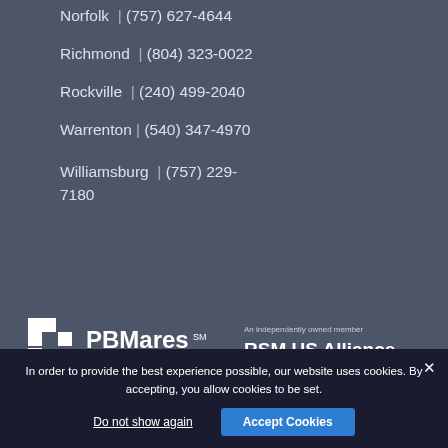Norfolk | (757) 627-4644
Richmond | (804) 323-0022
Rockville | (240) 499-2040
Warrenton | (540) 347-4970
Williamsburg | (757) 229-7180
[Figure (logo): PBMares CPAs and Consultants logo with checkered squares icon]
[Figure (logo): An independently owned member RSM US Alliance logo with RSM wordmark and colored bars]
[Figure (logo): PBMares Wealth Management logo with checkered squares icon]
In order to provide the best experience possible, our website uses cookies. By accepting, you allow cookies to be set.
Do not show again | Accept Cookies